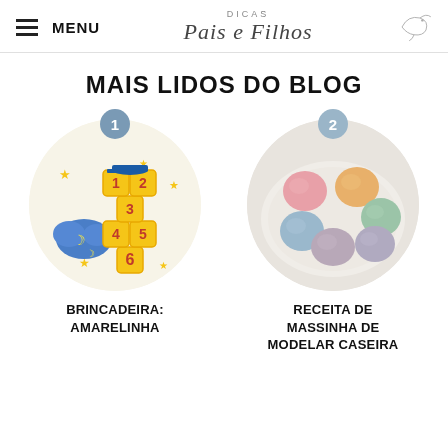MENU | Dicas Pais e Filhos
MAIS LIDOS DO BLOG
[Figure (illustration): Circular illustration of a hopscotch board with numbers and a blue cloud with moon and stars. Badge with number 1.]
BRINCADEIRA: AMARELINHA
[Figure (photo): Circular photo of colorful balls of homemade play dough (massinha) in pink, orange, green, blue, purple on a white plate. Badge with number 2.]
RECEITA DE MASSINHA DE MODELAR CASEIRA